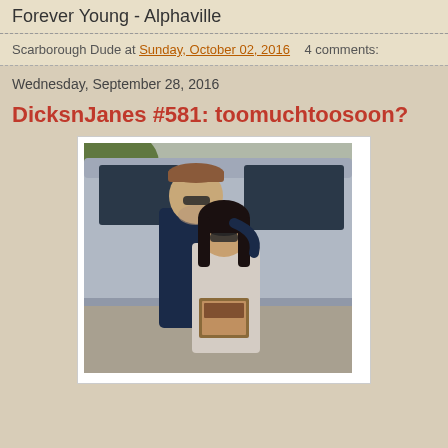Forever Young - Alphaville
Scarborough Dude at Sunday, October 02, 2016    4 comments:
Wednesday, September 28, 2016
DicksnJanes #581: toomuchtoosoon?
[Figure (photo): Two people, a taller man and shorter woman with dark hair wearing sunglasses, standing in front of a silver van. The woman is holding what appears to be a magazine or book.]